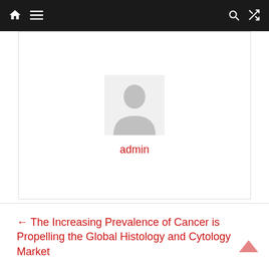Navigation bar with home, menu, search, and shuffle icons
[Figure (illustration): Generic user avatar (silhouette placeholder) inside a white bordered card]
admin
← The Increasing Prevalence of Cancer is Propelling the Global Histology and Cytology Market
The Rising Global Prevalence of the COVID-19 Infection is Driving the Global COVID-19 Vaccine Delivery Devices Market →